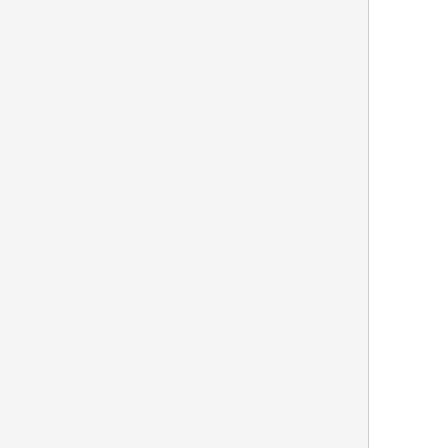[Figure (other): Avatar/profile image placeholder box with light gray background]
This team with two others brought us teamslevel they can still perform nice
Or main star is defenetly Edvald Bo place. He is the one who can be stro
Thomas Geraint is simmiler thanh B terrain instead of the sprint. He can b
Simon Šipilak the Slovenian legend
Timo Roosen is the one who can pr
Morten Hoberg if you need a ledout
Ramon Uribarrena and Robert Gav
Let me know if you are interesting or
[Figure (illustration): T-shirt icon with text LET TRANS WOMEN COMPETE IN SPORT in purple]
[Figure (other): Orange WEB button]
valverde321
Posted on 23-04-2022 18:10
IN CANADA, MILK COMES